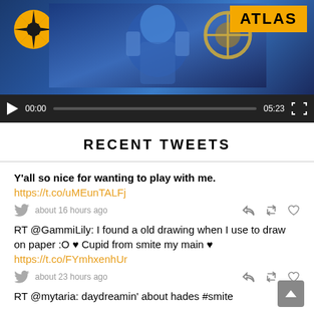[Figure (screenshot): Video player showing ATLAS game content with yellow sun logo on left, game character artwork in center-blue tones, ATLAS badge on top right, and video controls bar with play button, 00:00 timestamp, progress bar, 05:23 duration, and fullscreen button]
RECENT TWEETS
Y'all so nice for wanting to play with me.
https://t.co/uMEunTALFj
about 16 hours ago
RT @GammiLily: I found a old drawing when I use to draw on paper :O ♥ Cupid from smite my main ♥
https://t.co/FYmhxenhUr
about 23 hours ago
RT @mytaria: daydreamin' about hades #smite